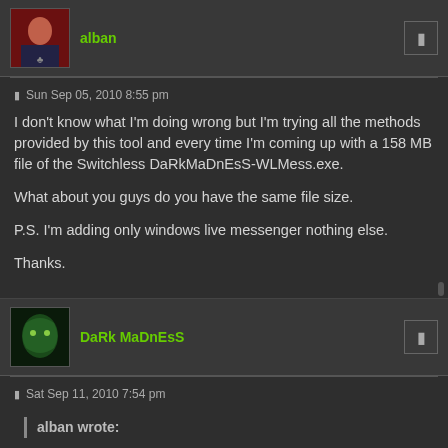alban
Sun Sep 05, 2010 8:55 pm
I don't know what I'm doing wrong but I'm trying all the methods provided by this tool and every time I'm coming up with a 158 MB file of the Switchless DaRkMaDnEsS-WLMess.exe.

What about you guys do you have the same file size.

P.S. I'm adding only windows live messenger nothing else.

Thanks.
DaRk MaDnEsS
Sat Sep 11, 2010 7:54 pm
alban wrote: